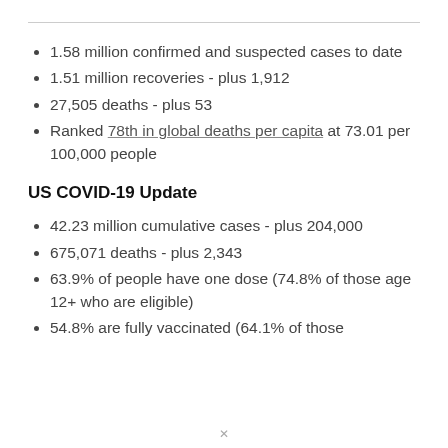1.58 million confirmed and suspected cases to date
1.51 million recoveries - plus 1,912
27,505 deaths - plus 53
Ranked 78th in global deaths per capita at 73.01 per 100,000 people
US COVID-19 Update
42.23 million cumulative cases - plus 204,000
675,071 deaths - plus 2,343
63.9% of people have one dose (74.8% of those age 12+ who are eligible)
54.8% are fully vaccinated (64.1% of those eligible)